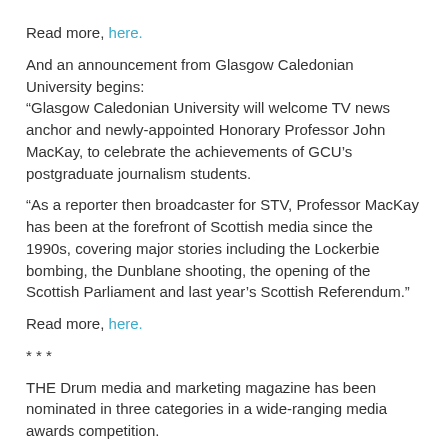Read more, here.
And an announcement from Glasgow Caledonian University begins: “Glasgow Caledonian University will welcome TV news anchor and newly-appointed Honorary Professor John MacKay, to celebrate the achievements of GCU’s postgraduate journalism students.
“As a reporter then broadcaster for STV, Professor MacKay has been at the forefront of Scottish media since the 1990s, covering major stories including the Lockerbie bombing, the Dunblane shooting, the opening of the Scottish Parliament and last year’s Scottish Referendum.”
Read more, here.
* * *
THE Drum media and marketing magazine has been nominated in three categories in a wide-ranging media awards competition.
The British Media Awards, now in their fourth year, are organised by the insight strategy and market intelligence company, Briefing Media.